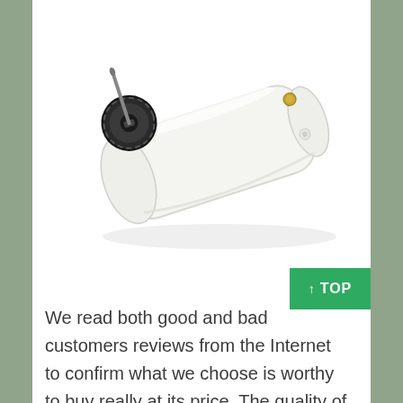[Figure (photo): A white plastic petrol/fuel tank with a black screw cap on the left side and a metal dipstick or fill tube. The tank is translucent white, rectangular with rounded corners, and has two small brass fittings on the right side. The tank is oriented diagonally.]
We read both good and bad customers reviews from the Internet to confirm what we choose is worthy to buy really at its price. The quality of the petrol tanks